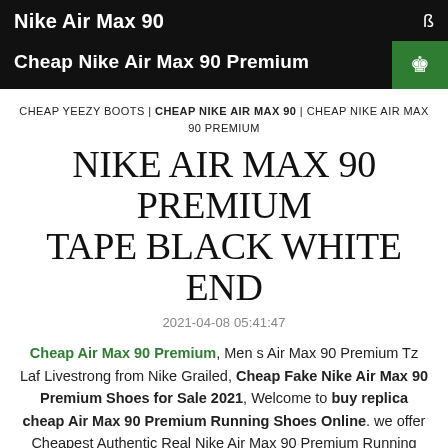Nike Air Max 90
Cheap Nike Air Max 90 Premium
CHEAP YEEZY BOOTS | CHEAP NIKE AIR MAX 90 | CHEAP NIKE AIR MAX 90 PREMIUM
NIKE AIR MAX 90 PREMIUM TAPE BLACK WHITE END
2021-04-08 05:41:47
Cheap Air Max 90 Premium, Men s Air Max 90 Premium Tz Laf Livestrong from Nike Grailed, Cheap Fake Nike Air Max 90 Premium Shoes for Sale 2021, Welcome to buy replica cheap Air Max 90 Premium Running Shoes Online. we offer Cheapest Authentic Real Nike Air Max 90 Premium Running Shoes Outlet Online, Air Jordan 1 Mid Arrives in Fragment Colors For Kids .